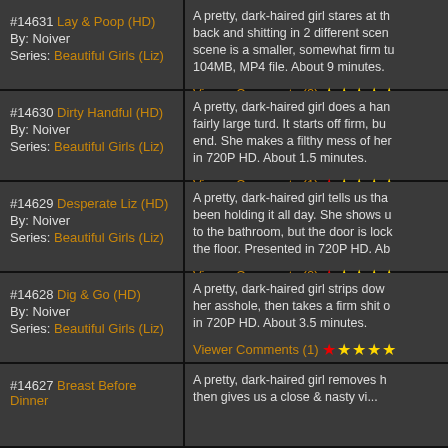#14631 Lay & Poop (HD) By: Noiver Series: Beautiful Girls (Liz)
A pretty, dark-haired girl stares at the camera while laying back and shitting in 2 different scenes. The second scene is a smaller, somewhat firm turd. Presented in 104MB, MP4 file. About 9 minutes.
Viewer Comments (3) ★★★★★
#14630 Dirty Handful (HD) By: Noiver Series: Beautiful Girls (Liz)
A pretty, dark-haired girl does a handful of a fairly large turd. It starts off firm, but gets soft toward the end. She makes a filthy mess of her hand. Presented in 720P HD. About 1.5 minutes.
Viewer Comments (1) ★★★★★
#14629 Desperate Liz (HD) By: Noiver Series: Beautiful Girls (Liz)
A pretty, dark-haired girl tells us that she has been holding it all day. She shows us that she needs to the bathroom, but the door is locked. She shits on the floor. Presented in 720P HD. Ab...
Viewer Comments (2) ★★★★★
#14628 Dig & Go (HD) By: Noiver Series: Beautiful Girls (Liz)
A pretty, dark-haired girl strips down and digs in her asshole, then takes a firm shit on camera. Presented in 720P HD. About 3.5 minutes.
Viewer Comments (1) ★★★★★
#14627 Breast Before Dinner
A pretty, dark-haired girl removes h... then gives us a close & nasty vi...